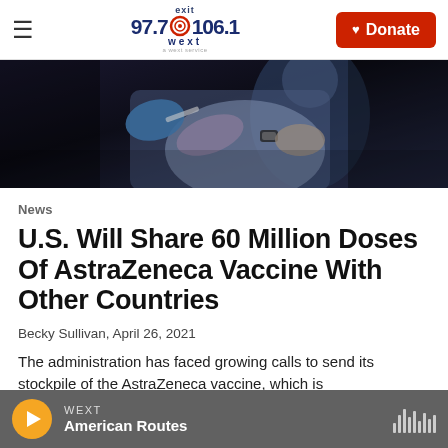exit 97.7 106.1 wext — Donate
[Figure (photo): Person receiving a vaccination injection, healthcare worker in blue gloves administering shot]
News
U.S. Will Share 60 Million Doses Of AstraZeneca Vaccine With Other Countries
Becky Sullivan, April 26, 2021
The administration has faced growing calls to send its stockpile of the AstraZeneca vaccine, which is
WEXT — American Routes